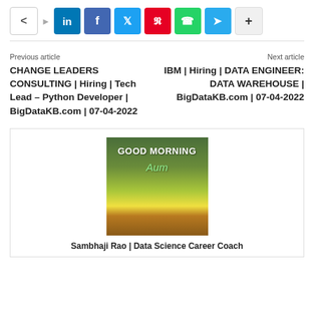[Figure (infographic): Social share bar with icons: share arrow, LinkedIn (blue), Facebook (purple), Twitter (light blue), Pinterest (red), WhatsApp (green), Telegram (teal), and plus button]
Previous article
CHANGE LEADERS CONSULTING | Hiring | Tech Lead – Python Developer | BigDataKB.com | 07-04-2022
Next article
IBM | Hiring | DATA ENGINEER: DATA WAREHOUSE | BigDataKB.com | 07-04-2022
[Figure (photo): Good Morning Aum image with yellow field and green trees landscape background]
Sambhaji Rao | Data Science Career Coach